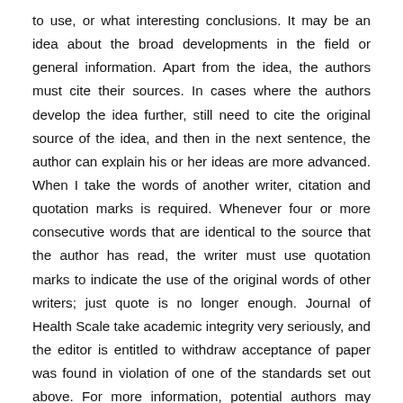to use, or what interesting conclusions. It may be an idea about the broad developments in the field or general information. Apart from the idea, the authors must cite their sources. In cases where the authors develop the idea further, still need to cite the original source of the idea, and then in the next sentence, the author can explain his or her ideas are more advanced. When I take the words of another writer, citation and quotation marks is required. Whenever four or more consecutive words that are identical to the source that the author has read, the writer must use quotation marks to indicate the use of the original words of other writers; just quote is no longer enough. Journal of Health Scale take academic integrity very seriously, and the editor is entitled to withdraw acceptance of paper was found in violation of one of the standards set out above. For more information, potential authors may contact the editorial office at skalakesehatan2016@gmail.com Papers submitted to the Journal of Health Scale will be screened and checked for plagiarism by using plagiarism detection tool, but a writer must be